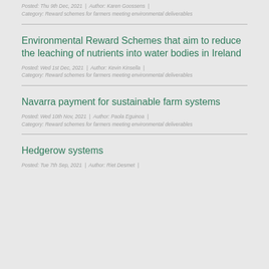Posted: Thu 9th Dec, 2021 | Author: Karen Goossens | Category: Reward schemes for farmers meeting environmental deliverables
Environmental Reward Schemes that aim to reduce the leaching of nutrients into water bodies in Ireland
Posted: Wed 1st Dec, 2021 | Author: Kevin Kinsella | Category: Reward schemes for farmers meeting environmental deliverables
Navarra payment for sustainable farm systems
Posted: Wed 10th Nov, 2021 | Author: Paola Eguinoa | Category: Reward schemes for farmers meeting environmental deliverables
Hedgerow systems
Posted: Tue 7th Sep, 2021 | Author: Riet Desmet |